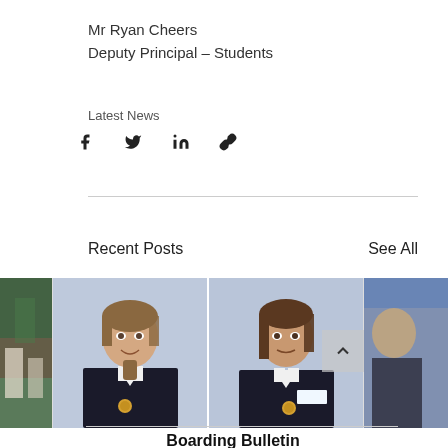Mr Ryan Cheers
Deputy Principal – Students
Latest News
[Figure (infographic): Social share icons: Facebook, Twitter, LinkedIn, link/chain icon]
Recent Posts
See All
[Figure (photo): Strip of school photos: partial outdoor photo on left, two girls in school uniform (dark blazers, white collar) in center, partial photo on right with navigation arrow overlay]
Boarding Bulletin